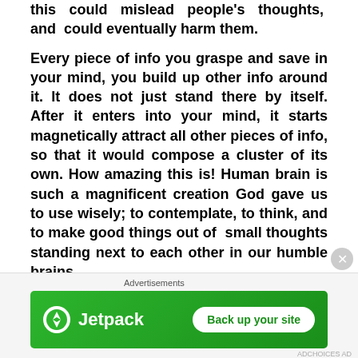this could mislead people's thoughts, and could eventually harm them.
Every piece of info you graspe and save in your mind, you build up other info around it. It does not just stand there by itself. After it enters into your mind, it starts magnetically attract all other pieces of info, so that it would compose a cluster of its own. How amazing this is! Human brain is such a magnificent creation God gave us to use wisely; to contemplate, to think, and to make good things out of small thoughts standing next to each other in our humble brains.
In that test/interview class, I had 9 people, and I began my class using a white board, a laptop
Advertisements
[Figure (other): Jetpack advertisement banner with green background, Jetpack logo on left and 'Back up your site' button on right]